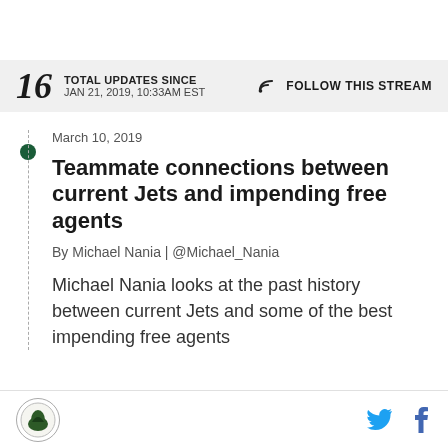16 TOTAL UPDATES SINCE JAN 21, 2019, 10:33AM EST | FOLLOW THIS STREAM
March 10, 2019
Teammate connections between current Jets and impending free agents
By Michael Nania | @Michael_Nania
Michael Nania looks at the past history between current Jets and some of the best impending free agents